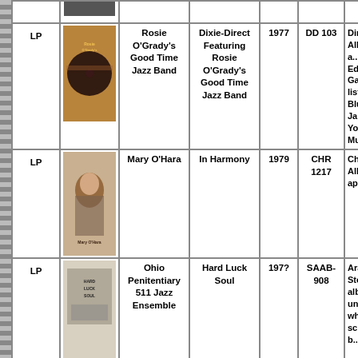| Format | Cover | Artist | Album | Year | Cat# | Notes |
| --- | --- | --- | --- | --- | --- | --- |
| LP | [album cover] | Rosie O'Grady's Good Time Jazz Band | Dixie-Direct Featuring Rosie O'Grady's Good Time Jazz Band | 1977 | DD 103 | Direct M... Album... ring a... appe... Edition... Gate... listing:... Blues;... Rive... Japan... You're S... Mud;... |
| LP | [album cover] | Mary O'Hara | In Harmony | 1979 | CHR 1217 | Chrysa... Album... appea... |
| LP | [album cover] | Ohio Penitentiary 511 Jazz Ensemble | Hard Luck Soul | 197? | SAAB-908 | Arago... Stereo... album... under... where... scrat... photo b... |